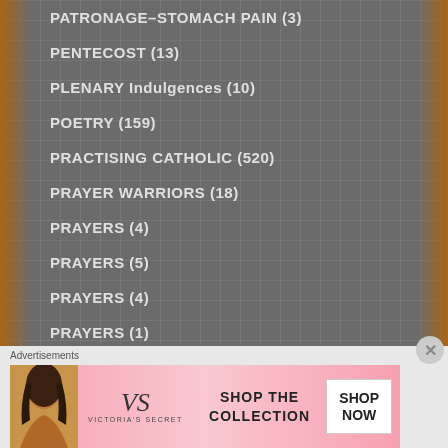PATRONAGE–STOMACH PAIN (3)
PENTECOST (13)
PLENARY Indulgences (10)
POETRY (159)
PRACTISING CATHOLIC (520)
PRAYER WARRIORS (18)
PRAYERS (4)
PRAYERS (5)
PRAYERS (4)
PRAYERS (1)
PRAYERS & NOVENA (10)
Advertisements
[Figure (photo): Victoria's Secret advertisement banner with model, VS logo, 'SHOP THE COLLECTION' text, and 'SHOP NOW' button]